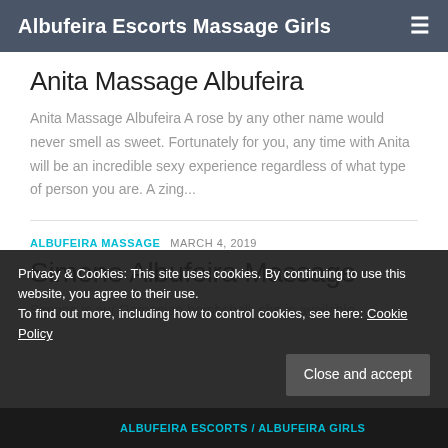Albufeira Escorts Massage Girls
Anita Massage Albufeira
Anita Massage Albufeira A rose by any other name would never smell as sweet. Fortunately for you, any time with Anita will be an incredible sexy experience regardless of what type of person you are. A zing...
ALBUFEIRA MASSAGE  MARCH 4, 2019
Simone Albufeira Massage
Simone is our Romanian bombshell, she is available
Privacy & Cookies: This site uses cookies. By continuing to use this website, you agree to their use.
To find out more, including how to control cookies, see here: Cookie Policy
Close and accept
ALBUFEIRA ESCORTS / ALBUFEIRA GIRLS